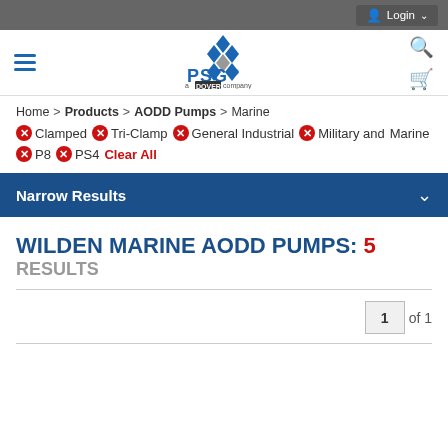Login
[Figure (logo): PSG a Dover Company logo with blue diamond pattern]
Home > Products > AODD Pumps > Marine
Clamped  Tri-Clamp  General Industrial  Military and Marine  P8  PS4  Clear All
Narrow Results
WILDEN MARINE AODD PUMPS: 5 RESULTS
1 of 1